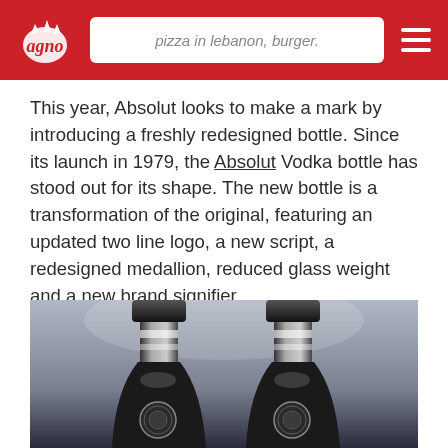pizza in lebanon, burger.
This year, Absolut looks to make a mark by introducing a freshly redesigned bottle. Since its launch in 1979, the Absolut Vodka bottle has stood out for its shape. The new bottle is a transformation of the original, featuring an updated two line logo, a new script, a redesigned medallion, reduced glass weight and a new brand signifier.
[Figure (photo): Two Absolut Vodka bottles side by side against a dark gradient background, showing bottle necks and caps, with circular medallions visible on the lower portions of the bottles.]